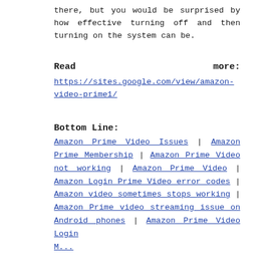there, but you would be surprised by how effective turning off and then turning on the system can be.
Read more:
https://sites.google.com/view/amazon-video-prime1/
Bottom Line:
Amazon Prime Video Issues | Amazon Prime Membership | Amazon Prime Video not working | Amazon Prime Video | Amazon Login Prime Video error codes | Amazon video sometimes stops working | Amazon Prime video streaming issue on Android phones | Amazon Prime Video Login Method | How To Register On A...